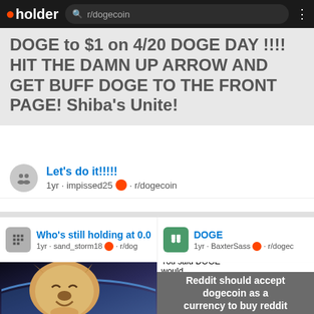pholder | r/dogecoin
DOGE to $1 on 4/20 DOGE DAY !!!! HIT THE DAMN UP ARROW AND GET BUFF DOGE TO THE FRONT PAGE! Shiba's Unite!
Let's do it!!!!!
1yr · impissed25 · r/dogecoin
Who's still holding at 0.0
1yr · sand_storm18 · r/dog
DOGE
1yr · BaxterSass · r/dogec
[Figure (photo): Shiba Inu dog smiling in space with Earth below]
[Figure (photo): Woman yelling at cat meme. Top text: 'You said DOGE would go to a dollar today.' / 'I say that everyday.' Bottom text: 'Reddit should accept dogecoin as a currency to buy reddit']